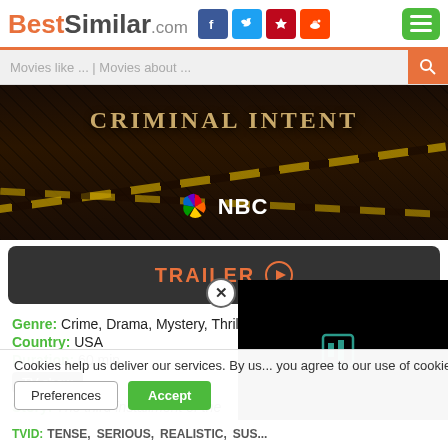BestSimilar.com
[Figure (screenshot): Criminal Intent TV show hero image with NBC logo on dark background]
TRAILER
Genre: Crime, Drama, Mystery, Thriller
Country: USA
Duration: 60 min.
TV show
+ Watchlist
Story: The third installment of the...
Cookies help us deliver our services. By us... you agree to our use of cookies as describe...
TVID: TENSE, SERIOUS, REALISTIC, SUS...